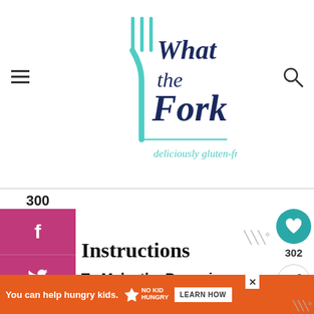[Figure (logo): What the Fork logo — teal fork graphic with cursive/script 'What the Fork' text and tagline 'deliciously gluten-free' in navy and teal]
300
SHARES
[Figure (infographic): Social share sidebar with Facebook, Twitter, Pinterest, and Flipboard buttons on magenta/red background]
Instructions
To Make the Brownies
1. Preheat oven to 325 degrees and line a
[Figure (infographic): Heart/save button in teal circle showing 302, and share button below]
[Figure (photo): What's Next thumbnail — cookie photo with label 'Gluten Free Peanut Butt...']
[Figure (infographic): Advertisement banner: orange background, 'You can help hungry kids.' with No Kid Hungry logo and LEARN HOW button]